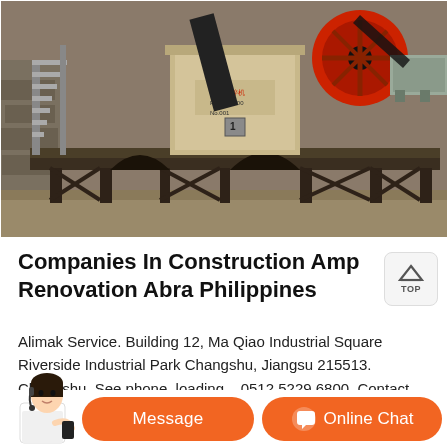[Figure (photo): Industrial crushing/mining equipment on a steel platform structure outdoors, with stairs, large red flywheel, motor, and stone background.]
Companies In Construction Amp Renovation Abra Philippines
Alimak Service. Building 12, Ma Qiao Industrial Square Riverside Industrial Park Changshu, Jiangsu 215513. Changshu. See phone. loading... 0512 5229 6800. Contact.
[Figure (screenshot): Bottom section with a customer service representative and orange chat buttons: Message and Online Chat.]